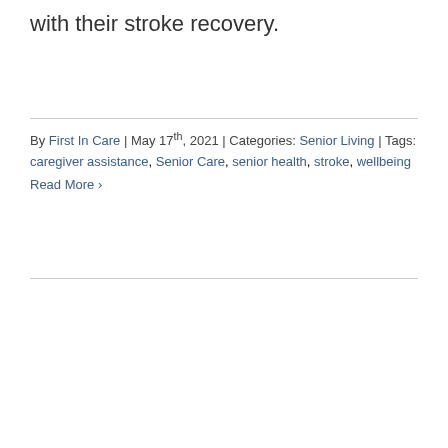with their stroke recovery.
By First In Care | May 17th, 2021 | Categories: Senior Living | Tags: caregiver assistance, Senior Care, senior health, stroke, wellbeing
Read More